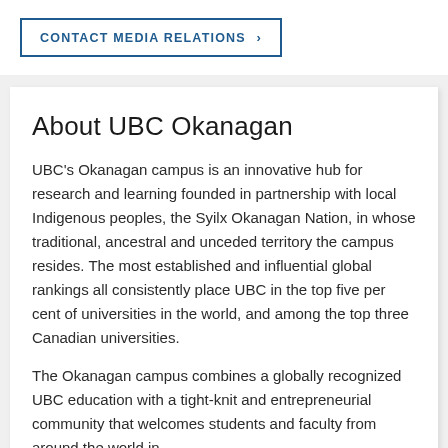CONTACT MEDIA RELATIONS >
About UBC Okanagan
UBC's Okanagan campus is an innovative hub for research and learning founded in partnership with local Indigenous peoples, the Syilx Okanagan Nation, in whose traditional, ancestral and unceded territory the campus resides. The most established and influential global rankings all consistently place UBC in the top five per cent of universities in the world, and among the top three Canadian universities.
The Okanagan campus combines a globally recognized UBC education with a tight-knit and entrepreneurial community that welcomes students and faculty from around the world in